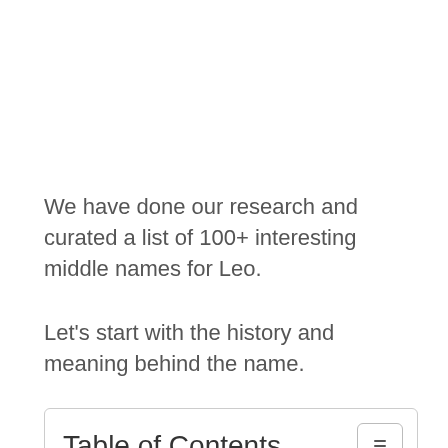We have done our research and curated a list of 100+ interesting middle names for Leo.
Let's start with the history and meaning behind the name.
Table of Contents